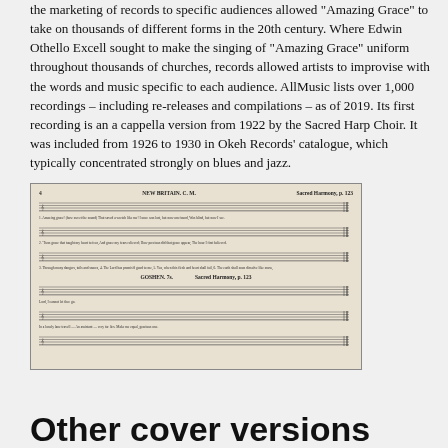the marketing of records to specific audiences allowed "Amazing Grace" to take on thousands of different forms in the 20th century. Where Edwin Othello Excell sought to make the singing of "Amazing Grace" uniform throughout thousands of churches, records allowed artists to improvise with the words and music specific to each audience. AllMusic lists over 1,000 recordings – including re-releases and compilations – as of 2019. Its first recording is an a cappella version from 1922 by the Sacred Harp Choir. It was included from 1926 to 1930 in Okeh Records' catalogue, which typically concentrated strongly on blues and jazz.
[Figure (photo): A scanned page from a hymnal or shape-note songbook showing musical notation for 'NEW BRITAIN' (Amazing Grace tune) and 'GOSHEN', with multiple staves of music notation and lyrics beneath each staff.]
Other cover versions